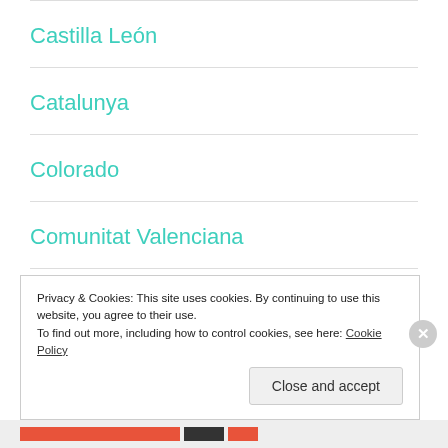Castilla León
Catalunya
Colorado
Comunitat Valenciana
Czech Republic
Denmark
Privacy & Cookies: This site uses cookies. By continuing to use this website, you agree to their use.
To find out more, including how to control cookies, see here: Cookie Policy
Close and accept